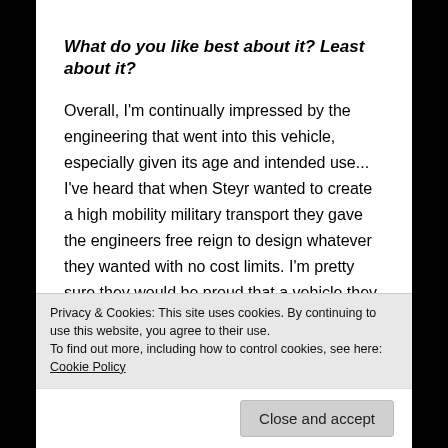What do you like best about it? Least about it?
Overall, I'm continually impressed by the engineering that went into this vehicle, especially given its age and intended use... I've heard that when Steyr wanted to create a high mobility military transport they gave the engineers free reign to design whatever they wanted with no cost limits. I'm pretty sure they would be proud that a vehicle they designed in the early 70's could match anything created today. 40 years
Privacy & Cookies: This site uses cookies. By continuing to use this website, you agree to their use.
To find out more, including how to control cookies, see here: Cookie Policy
Close and accept
Pinzgauer which does not have a purpose or